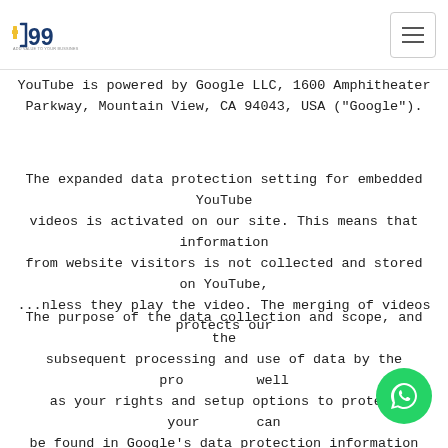99 ADD VALUE TO YOUR BUSSINES
YouTube is powered by Google LLC, 1600 Amphitheater Parkway, Mountain View, CA 94043, USA ("Google").
The expanded data protection setting for embedded YouTube videos is activated on our site. This means that information from website visitors is not collected and stored on YouTube, ...nless they play the video. The merging of videos protects our
The purpose of the data collection and scope, and the subsequent processing and use of data by the pro... well as your rights and setup options to protect your... can be found in Google's data protection information